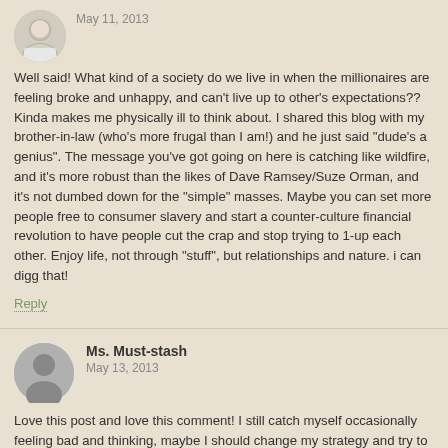[Figure (photo): Small circular avatar photo of a young man in a white shirt]
May 11, 2013
Well said! What kind of a society do we live in when the millionaires are feeling broke and unhappy, and can't live up to other's expectations?? Kinda makes me physically ill to think about. I shared this blog with my brother-in-law (who's more frugal than I am!) and he just said "dude's a genius". The message you've got going on here is catching like wildfire, and it's more robust than the likes of Dave Ramsey/Suze Orman, and it's not dumbed down for the "simple" masses. Maybe you can set more people free to consumer slavery and start a counter-culture financial revolution to have people cut the crap and stop trying to 1-up each other. Enjoy life, not through "stuff", but relationships and nature. i can digg that!
Reply
[Figure (illustration): Generic gray circular avatar silhouette icon]
Ms. Must-stash
May 13, 2013
Love this post and love this comment! I still catch myself occasionally feeling bad and thinking, maybe I should change my strategy and try to get the big house, the nicer clothes, etc. etc.
The latest example was that I was wishing we had a